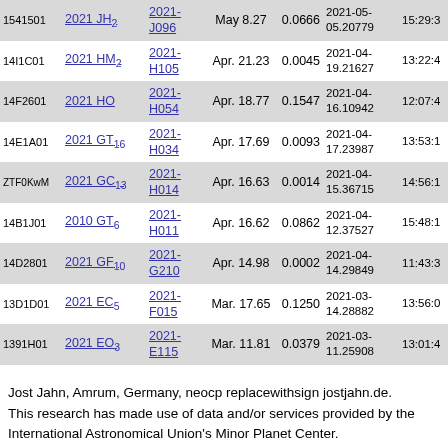| ID | Designation | Code |  | Date | Value | Timestamp | Time |
| --- | --- | --- | --- | --- | --- | --- | --- |
| 1541501 | 2021 JH2 | 2021-J096 |  | May 8.27 | 0.0666 | 2021-05-05.20779 | 15:29:3 |
| 14I1C01 | 2021 HM2 | 2021-H105 |  | Apr. 21.23 | 0.0045 | 2021-04-19.21627 | 13:22:4 |
| 14F2601 | 2021 HO | 2021-H054 |  | Apr. 18.77 | 0.1547 | 2021-04-16.10942 | 12:07:4 |
| 14E1A01 | 2021 GT16 | 2021-H034 |  | Apr. 17.69 | 0.0093 | 2021-04-17.23987 | 13:53:1 |
| ZTF0KwM | 2021 GC13 | 2021-H014 |  | Apr. 16.63 | 0.0014 | 2021-04-15.36715 | 14:56:1 |
| 14B1J01 | 2010 GT6 | 2021-H011 |  | Apr. 16.62 | 0.0862 | 2021-04-12.37527 | 15:48:1 |
| 14D2801 | 2021 GF10 | 2021-G210 |  | Apr. 14.98 | 0.0002 | 2021-04-14.29849 | 11:43:3 |
| 13D1D01 | 2021 EC5 | 2021-F015 |  | Mar. 17.65 | 0.1250 | 2021-03-14.28882 | 13:56:0 |
| 1391H01 | 2021 EO3 | 2021-E115 |  | Mar. 11.81 | 0.0379 | 2021-03-11.25908 | 13:01:4 |
Jost Jahn, Amrum, Germany, neocp replacewithsign jostjahn.de. This research has made use of data and/or services provided by the International Astronomical Union's Minor Planet Center.